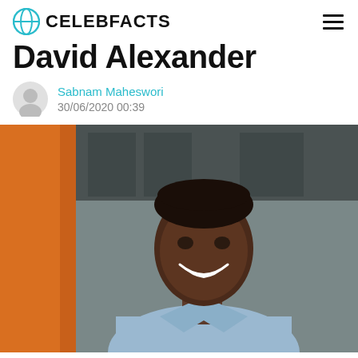CELEBFACTS
David Alexander
Sabnam Maheswori
30/06/2020 00:39
[Figure (photo): Smiling young Black man in a light blue shirt, photographed outdoors with an orange column and blurred building in background]